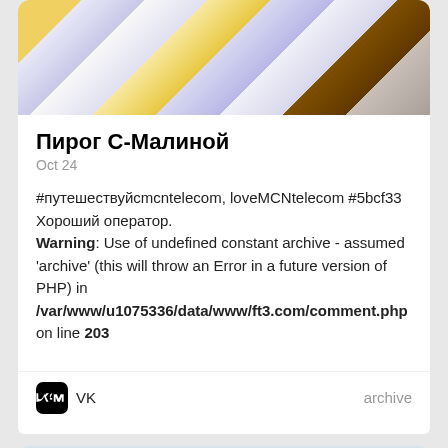[Figure (photo): Top portion of a knitted or woven fabric with yellow, blue, white, and brown patterns]
Пирог С-Малиной
Oct 24
#путешествуйсmcntelecom, loveMCNtelecom #5bcf33
Хороший оператор.
Warning: Use of undefined constant archive - assumed 'archive' (this will throw an Error in a future version of PHP) in /var/www/u1075336/data/www/ft3.com/comment.php on line 203
VK
archive
[Figure (photo): Partially visible photo of a man wearing sunglasses and a blue t-shirt, outdoors with sky in background]